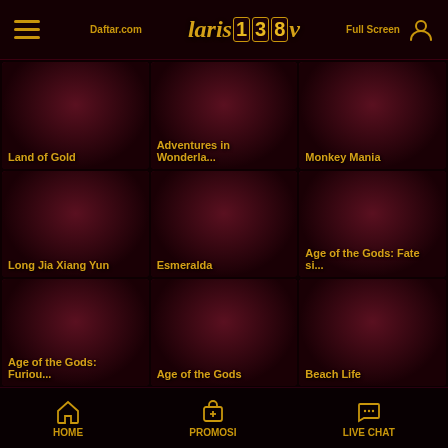Laris138 - Header with hamburger menu, logo, Daftar button, and user icon
[Figure (screenshot): Game card: Land of Gold slot game thumbnail]
Land of Gold
[Figure (screenshot): Game card: Adventures in Wonderla... slot game thumbnail]
Adventures in Wonderla...
[Figure (screenshot): Game card: Monkey Mania slot game thumbnail]
Monkey Mania
[Figure (screenshot): Game card: Long Jia Xiang Yun slot game thumbnail]
Long Jia Xiang Yun
[Figure (screenshot): Game card: Esmeralda slot game thumbnail]
Esmeralda
[Figure (screenshot): Game card: Age of the Gods: Fate si... slot game thumbnail]
Age of the Gods: Fate si...
[Figure (screenshot): Game card: Age of the Gods: Furiou... slot game thumbnail]
Age of the Gods: Furiou...
[Figure (screenshot): Game card: Age of the Gods slot game thumbnail]
Age of the Gods
[Figure (screenshot): Game card: Beach Life slot game thumbnail]
Beach Life
HOME | PROMOSI | LIVE CHAT